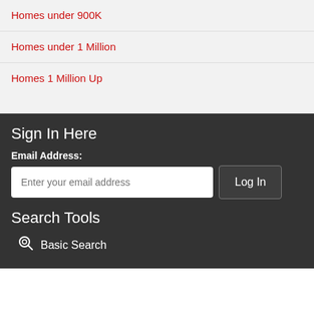Homes under 900K
Homes under 1 Million
Homes 1 Million Up
Sign In Here
Email Address:
Search Tools
Basic Search